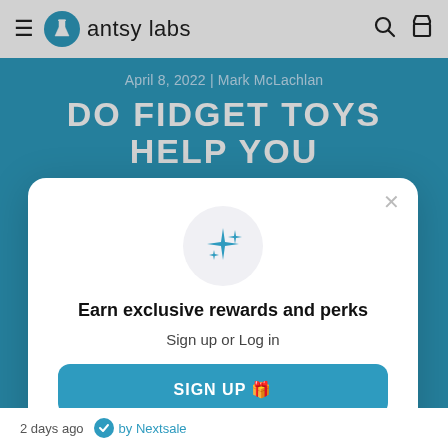antsy labs
April 8, 2022 | Mark McLachlan
DO FIDGET TOYS HELP YOU FOCUS?
Do fidget toys help you focus? As the team behind the
[Figure (screenshot): Modal popup with sparkle icon, heading 'Earn exclusive rewards and perks', sign up prompt and button]
Earn exclusive rewards and perks
Sign up or Log in
SIGN UP 🎁
Already have an account? Sign in
2 days ago  by Nextsale